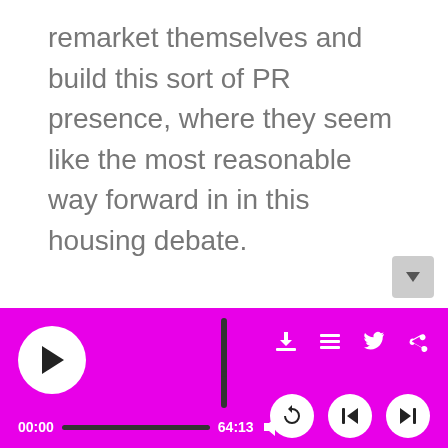remarket themselves and build this sort of PR presence, where they seem like the most reasonable way forward in in this housing debate.

Snippet of Josh Stephens, contributing editor of California Planning and Development Report, speaking at USC
[Figure (other): Audio media player bar with play button, progress bar showing 00:00 / 64:13, volume control, vertical slider, download, playlist, twitter, share icons, and replay/skip back/skip forward controls on a magenta/fuchsia background.]